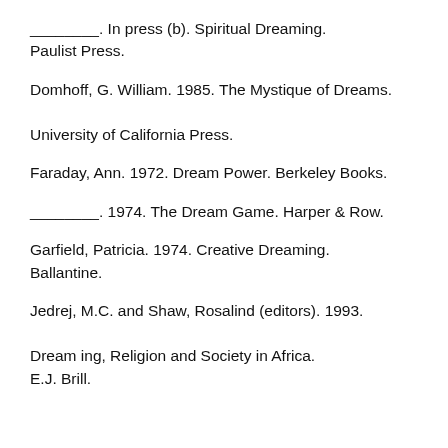________. In press (b). Spiritual Dreaming. Paulist Press.
Domhoff, G. William. 1985. The Mystique of Dreams. University of California Press.
Faraday, Ann. 1972. Dream Power. Berkeley Books.
________. 1974. The Dream Game. Harper & Row.
Garfield, Patricia. 1974. Creative Dreaming. Ballantine.
Jedrej, M.C. and Shaw, Rosalind (editors). 1993. Dreaming, Religion and Society in Africa. E.J. Brill.